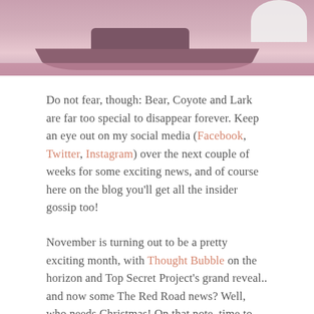[Figure (illustration): Partial illustration of a boat/ship with pinkish-purple sky and water background, cropped at the top of the page]
Do not fear, though: Bear, Coyote and Lark are far too special to disappear forever. Keep an eye out on my social media (Facebook, Twitter, Instagram) over the next couple of weeks for some exciting news, and of course here on the blog you'll get all the insider gossip too!
November is turning out to be a pretty exciting month, with Thought Bubble on the horizon and Top Secret Project's grand reveal.. and now some The Red Road news? Well, who needs Christmas! On that note, time to get back to the grind! Don't forget to back the Nepal Art Aid Anthology if you haven't already – the clock is ticking. For now, as always, over and out.